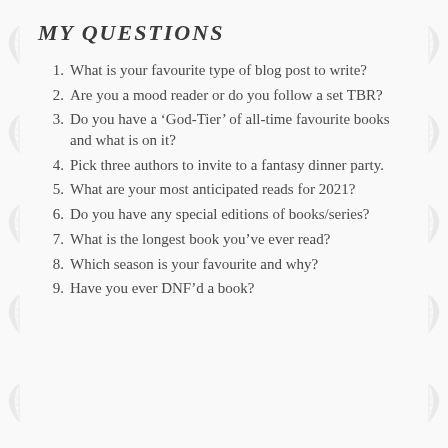MY QUESTIONS
What is your favourite type of blog post to write?
Are you a mood reader or do you follow a set TBR?
Do you have a ‘God-Tier’ of all-time favourite books and what is on it?
Pick three authors to invite to a fantasy dinner party.
What are your most anticipated reads for 2021?
Do you have any special editions of books/series?
What is the longest book you’ve ever read?
Which season is your favourite and why?
Have you ever DNF’d a book?